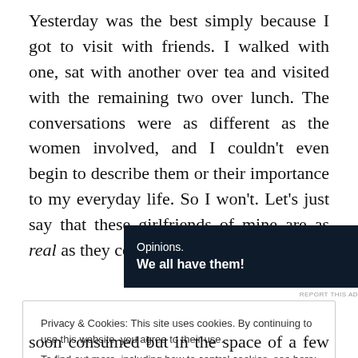Yesterday was the best simply because I got to visit with friends. I walked with one, sat with another over tea and visited with the remaining two over lunch. The conversations were as different as the women involved, and I couldn't even begin to describe them or their importance to my everyday life. So I won't. Let's just say that these girlfriends of mine are as real as they come.
[Figure (other): Advertisement banner with dark navy background. Left side shows text: 'Opinions. We all have them!' in white. Right side shows WordPress logo (W in circle) and another circular logo.]
REPORT THIS AD
Privacy & Cookies: This site uses cookies. By continuing to use this website, you agree to their use.
To find out more, including how to control cookies, see here: Cookie Policy
soon consumed but in the space of a few hours, the visits